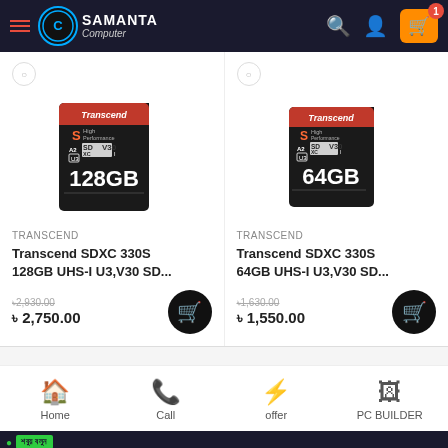SAMANTA Computer - mobile app header with navigation
[Figure (photo): Transcend SDXC 330S 128GB SD card image]
TRANSCEND
Transcend SDXC 330S 128GB UHS-I U3,V30 SD...
৳2,930.00 (strikethrough) ৳2,750.00
[Figure (photo): Transcend SDXC 330S 64GB SD card image]
TRANSCEND
Transcend SDXC 330S 64GB UHS-I U3,V30 SD...
৳1,630.00 (strikethrough) ৳1,550.00
Home | Call | offer | PC BUILDER